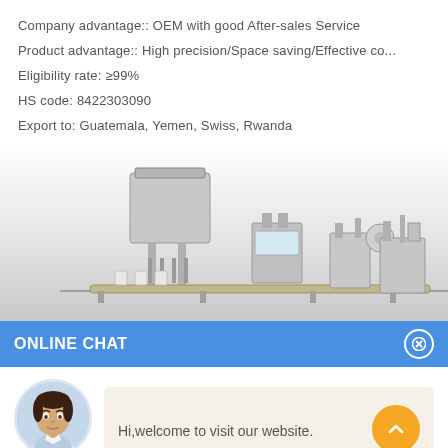Company advantage:: OEM with good After-sales Service
Product advantage:: High precision/Space saving/Effective co...
Eligibility rate: ≥99%
HS code: 8422303090
Export to: Guatemala, Yemen, Swiss, Rwanda
[Figure (photo): Industrial filling and packaging machine line on a light grey gradient background]
ONLINE CHAT
[Figure (photo): Avatar photo of a young woman named Cilina, customer service representative]
Hi,welcome to visit our website.
Cilina